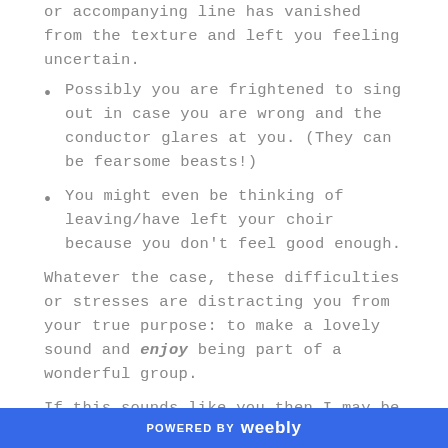or accompanying line has vanished from the texture and left you feeling uncertain.
Possibly you are frightened to sing out in case you are wrong and the conductor glares at you. (They can be fearsome beasts!)
You might even be thinking of leaving/have left your choir because you don't feel good enough.
Whatever the case, these difficulties or stresses are distracting you from your true purpose: to make a lovely sound and enjoy being part of a wonderful group.
If this sounds like you then I may be able to help. Whilst teaching at Aberystwyth Arts Centre, a
POWERED BY weebly